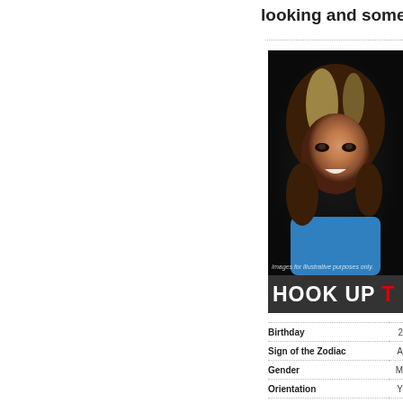looking and some
[Figure (photo): Profile photo of a young woman with highlighted brown hair, smiling, wearing a blue top and large hoop earrings. Below the photo is a bar reading 'HOOK UP T' in bold white and red text on dark background. Watermark reads 'Images for illustrative purposes only.']
| Field | Value |
| --- | --- |
| Birthday | 2 |
| Sign of the Zodiac | A |
| Gender | M |
| Orientation | Y |
| Body type | Y |